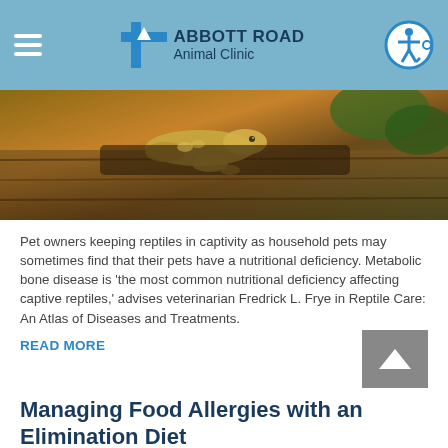ABBOTT ROAD Animal Clinic
[Figure (photo): Close-up photo of a lizard/reptile resting on wood with natural foliage background]
Pet owners keeping reptiles in captivity as household pets may sometimes find that their pets have a nutritional deficiency. Metabolic bone disease is 'the most common nutritional deficiency affecting captive reptiles,' advises veterinarian Fredrick L. Frye in Reptile Care: An Atlas of Diseases and Treatments.
READ MORE
Managing Food Allergies with an Elimination Diet